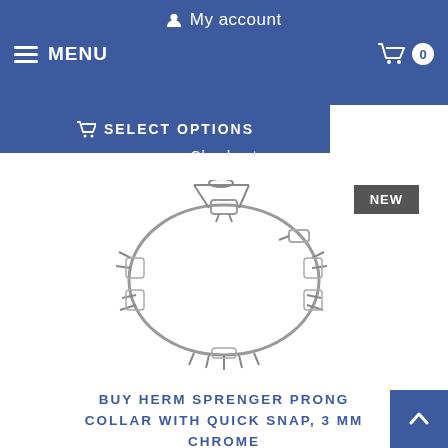My account
MENU
0
SELECT OPTIONS
Checkout
[Figure (photo): Herm Sprenger prong collar with quick snap, 3 mm chrome, shown as a circular metal collar with prongs, photographed on a white background. A dark grey badge with text NEW appears in the upper right.]
BUY HERM SPRENGER PRONG COLLAR WITH QUICK SNAP, 3 MM CHROME